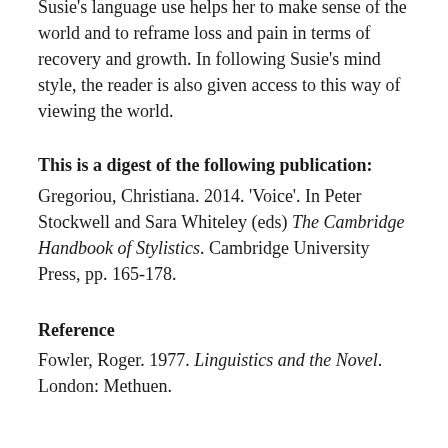Susie's language use helps her to make sense of the world and to reframe loss and pain in terms of recovery and growth. In following Susie's mind style, the reader is also given access to this way of viewing the world.
This is a digest of the following publication:
Gregoriou, Christiana. 2014. 'Voice'. In Peter Stockwell and Sara Whiteley (eds) The Cambridge Handbook of Stylistics. Cambridge University Press, pp. 165-178.
Reference
Fowler, Roger. 1977. Linguistics and the Novel. London: Methuen.